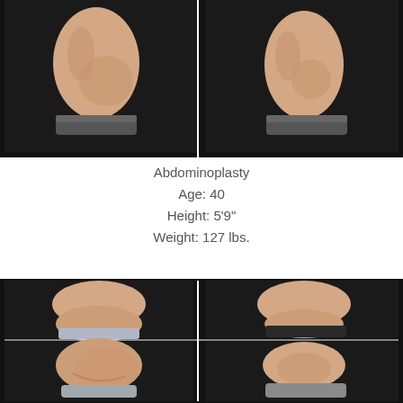[Figure (photo): Before and after side-view photos of abdominoplasty patient showing torso from side angle, two images side by side against dark background]
Abdominoplasty
Age: 40
Height: 5'9"
Weight: 127 lbs.
[Figure (photo): Before and after front-view photos of abdominoplasty patient showing torso, four images in a 2x2 grid against dark background showing before (left column) and after (right column)]